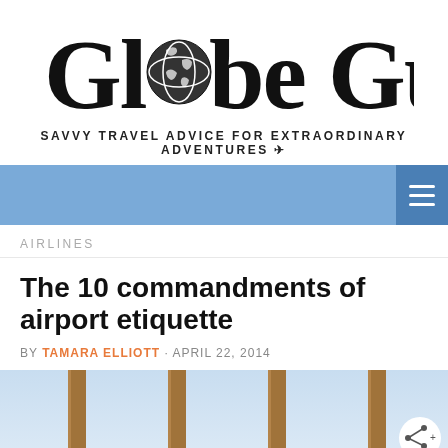Globe Guide
SAVVY TRAVEL ADVICE FOR EXTRAORDINARY ADVENTURES ✈
[Figure (other): Navigation bar with blue background and hamburger menu icon on the right]
AIRLINES
The 10 commandments of airport etiquette
BY TAMARA ELLIOTT · APRIL 22, 2014
[Figure (photo): Photo showing wooden posts or pillars against a light blue sky, with a circular share button overlay in the bottom right corner]